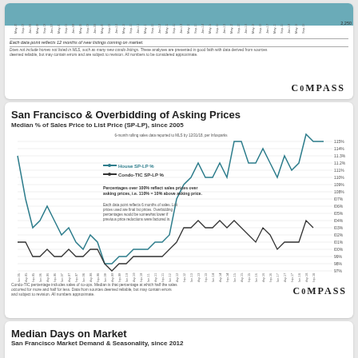[Figure (area-chart): Top portion of a teal area chart showing new listings data from Jan-05 to Sep-18, with value 2,250 marked on right axis]
Each data point reflects 12 months of new listings coming on market.
Does not include homes not listed in MLS, such as many new condo listings. These analyses are presented in good faith with data derived from sources deemed reliable, but may contain errors and are subject to revision. All numbers to be considered approximate.
[Figure (logo): COMPASS logo]
San Francisco & Overbidding of Asking Prices
Median % of Sales Price to List Price (SP-LP), since 2005
[Figure (line-chart): Two-line chart showing House SP-LP % and Condo-TIC SP-LP % from Jan-05 to Sep-18. House line peaks around 115% in 2015 and again in 2018. Condo line lower, ranging from about 97% to 104%. Both lines show seasonal patterns.]
Condo-TIC percentage includes sales of co-ops. Median is that percentage at which half the sales occurred for more and half for less. Data from sources deemed reliable, but may contain errors and subject to revision. All numbers approximate.
[Figure (logo): COMPASS logo]
Median Days on Market
San Francisco Market Demand & Seasonality, since 2012